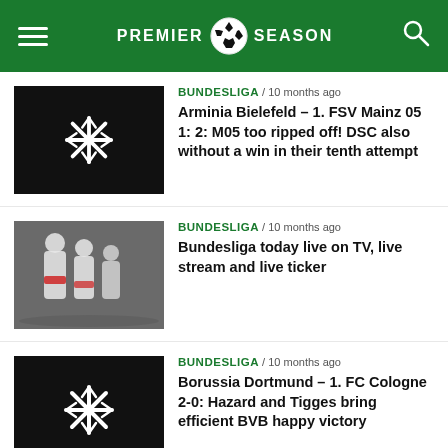PREMIER SEASON
BUNDESLIGA / 10 months ago — Arminia Bielefeld – 1. FSV Mainz 05 1: 2: M05 too ripped off! DSC also without a win in their tenth attempt
BUNDESLIGA / 10 months ago — Bundesliga today live on TV, live stream and live ticker
BUNDESLIGA / 10 months ago — Borussia Dortmund – 1. FC Cologne 2-0: Hazard and Tigges bring efficient BVB happy victory
BUNDESLIGA / 10 months ago — Union Berlin – FC Bayern Munich 2: 5: FCB strikes back after the cup debacle